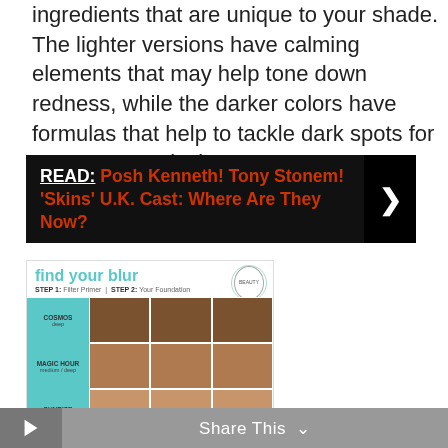ingredients that are unique to your shade. The lighter versions have calming elements that may help tone down redness, while the darker colors have formulas that help to tackle dark spots for an even complexion.
[Figure (other): Black banner with bold text: READ: Posh Kenneth! Tony Stonem! 'Skins' U.K. Cast: Where Are They Now? with a white right-arrow chevron on the right side.]
[Figure (photo): Advertisement image for 'find your blur' product showing a grid of face close-ups organized by shade categories: COSMOS (deep), MAGIC HOUR (medium/deep), and SUNRISE (medium), with a teal/cyan color scheme and a circular BEAUTY badge logo.]
Share This